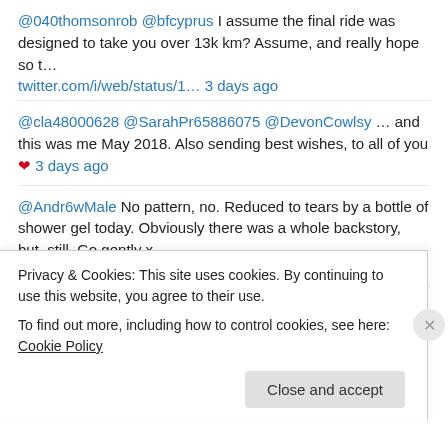@040thomsonrob @bfcyprus I assume the final ride was designed to take you over 13k km? Assume, and really hope so t… twitter.com/i/web/status/1… 3 days ago
@cla48000628 @SarahPr65886075 @DevonCowlsy … and this was me May 2018. Also sending best wishes, to all of you ❤ 3 days ago
@Andr6wMale No pattern, no. Reduced to tears by a bottle of shower gel today. Obviously there was a whole backstory, but, still. Go gently x 1 week ago
@pany1galanis Best time of year! 1 week ago
Follow @ALifeInCyprus
Privacy & Cookies: This site uses cookies. By continuing to use this website, you agree to their use. To find out more, including how to control cookies, see here: Cookie Policy
Close and accept